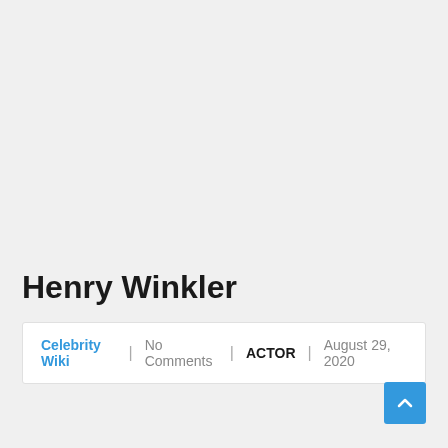Henry Winkler
Celebrity Wiki | No Comments | ACTOR | August 29, 2020